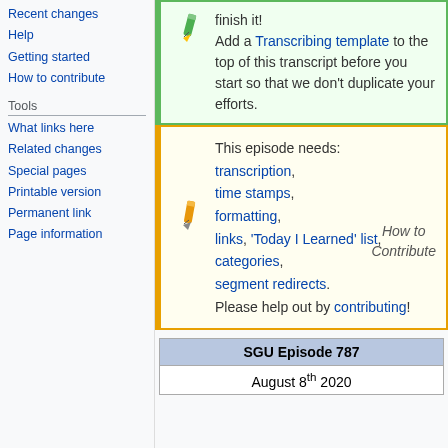Recent changes
Help
Getting started
How to contribute
Tools
What links here
Related changes
Special pages
Printable version
Permanent link
Page information
finish it! Add a Transcribing template to the top of this transcript before you start so that we don't duplicate your efforts.
This episode needs: transcription, time stamps, formatting, links, 'Today I Learned' list, categories, segment redirects. Please help out by contributing!
How to Contribute
| SGU Episode 787 |
| --- |
| August 8th 2020 |